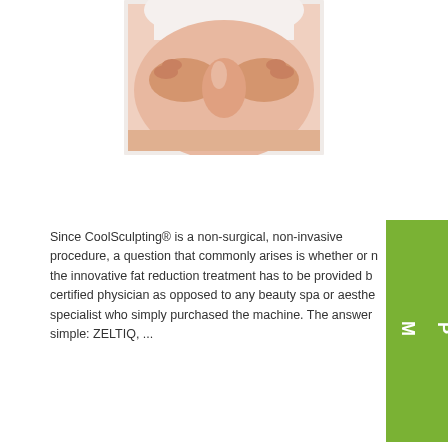[Figure (photo): Close-up photo of a person pinching body fat/skin near waist area, framed with a light border]
Since CoolSculpting® is a non-surgical, non-invasive procedure, a question that commonly arises is whether or not the innovative fat reduction treatment has to be provided by a certified physician as opposed to any beauty spa or aesthetics specialist who simply purchased the machine. The answer is simple: ZELTIQ, ...
Continue Reading
SHOP M SPA
27
Feb
What Makes CoolSculpting®